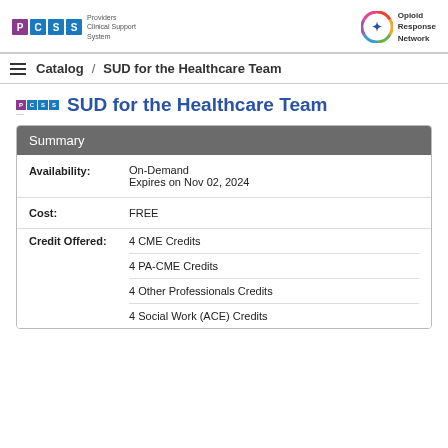[Figure (logo): PCSS - Providers Clinical Support System logo with colored tiles (P, C, S, S)]
[Figure (logo): Opioid Response Network logo - circular colorful icon with star and text]
Catalog / SUD for the Healthcare Team
SUD for the Healthcare Team
Summary
| Field | Value |
| --- | --- |
| Availability: | On-Demand
Expires on Nov 02, 2024 |
| Cost: | FREE |
| Credit Offered: | 4 CME Credits
4 PA-CME Credits
4 Other Professionals Credits
4 Social Work (ACE) Credits |